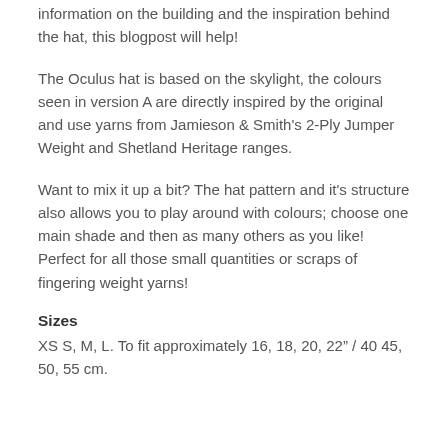information on the building and the inspiration behind the hat, this blogpost will help!
The Oculus hat is based on the skylight, the colours seen in version A are directly inspired by the original and use yarns from Jamieson & Smith's 2-Ply Jumper Weight and Shetland Heritage ranges.
Want to mix it up a bit? The hat pattern and it's structure also allows you to play around with colours; choose one main shade and then as many others as you like! Perfect for all those small quantities or scraps of fingering weight yarns!
Sizes
XS S, M, L. To fit approximately 16, 18, 20, 22” / 40 45, 50, 55 cm.